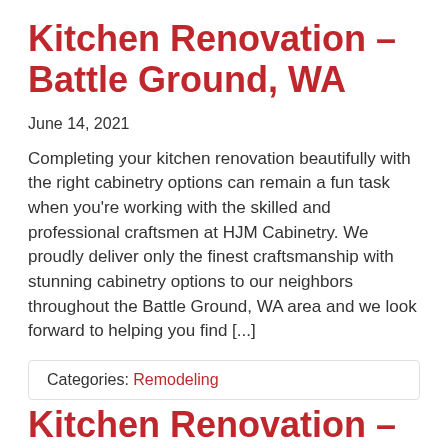Kitchen Renovation – Battle Ground, WA
June 14, 2021
Completing your kitchen renovation beautifully with the right cabinetry options can remain a fun task when you're working with the skilled and professional craftsmen at HJM Cabinetry. We proudly deliver only the finest craftsmanship with stunning cabinetry options to our neighbors throughout the Battle Ground, WA area and we look forward to helping you find [...]
Categories: Remodeling
Kitchen Renovation – Brun...